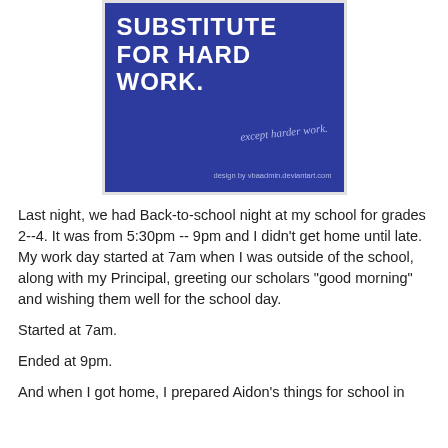[Figure (illustration): Blue square image with bold white uppercase text reading 'SUBSTITUTE FOR HARD WORK.' and handwritten italic text 'except harder work.' in lighter color. Bottom right shows 'design by vbaadmin.deviantart.com'. Image has a light gray border.]
Last night, we had Back-to-school night at my school for grades 2--4. It was from 5:30pm -- 9pm and I didn't get home until late. My work day started at 7am when I was outside of the school, along with my Principal, greeting our scholars "good morning" and wishing them well for the school day.
Started at 7am.
Ended at 9pm.
And when I got home, I prepared Aidon's things for school in